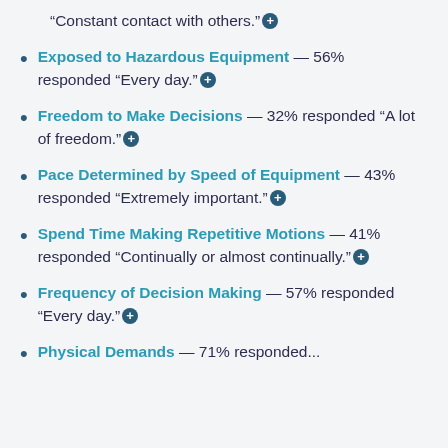“Constant contact with others.”⊕
Exposed to Hazardous Equipment — 56% responded “Every day.”⊕
Freedom to Make Decisions — 32% responded “A lot of freedom.”⊕
Pace Determined by Speed of Equipment — 43% responded “Extremely important.”⊕
Spend Time Making Repetitive Motions — 41% responded “Continually or almost continually.”⊕
Frequency of Decision Making — 57% responded “Every day.”⊕
Physical Demands — 71% responded...